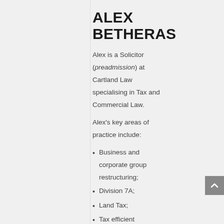ALEX BETHERAS
Alex is a Solicitor (preadmission) at Cartland Law specialising in Tax and Commercial Law.
Alex's key areas of practice include:
Business and corporate group restructuring;
Division 7A;
Land Tax;
Tax efficient